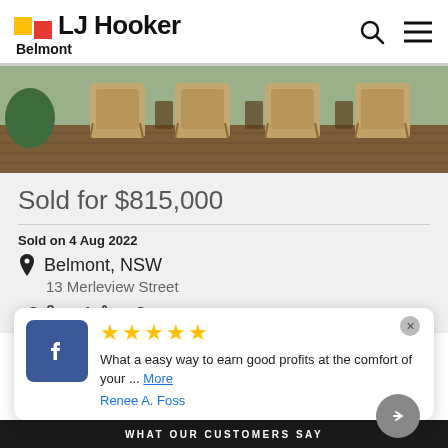LJ Hooker Belmont
[Figure (photo): Outdoor deck with wicker chairs and wooden decking, partial view]
Sold for $815,000
Sold on 4 Aug 2022
Belmont, NSW
13 Merleview Street
3 [bed] 1 [bath] 2 [car]
★★★★★ What a easy way to earn good profits at the comfort of your ... More — Renee A. Foss
WHAT OUR CUSTOMERS SAY